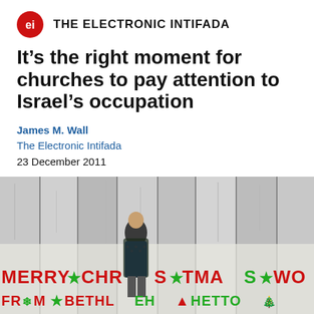THE ELECTRONIC INTIFADA
It’s the right moment for churches to pay attention to Israel’s occupation
James M. Wall
The Electronic Intifada
23 December 2011
[Figure (photo): An elderly person stands in front of the Israeli separation wall in Bethlehem, which has graffiti reading 'MERRY CHRISTMAS FROM BETHLEHEM GHETTO' in large red and green letters.]